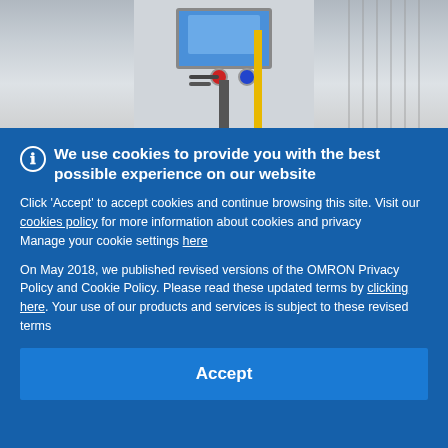[Figure (photo): Industrial machine or automation equipment with a blue screen display, red and blue buttons, cables, a yellow vertical bar, and a metal grid structure in the background.]
We use cookies to provide you with the best possible experience on our website
Click 'Accept' to accept cookies and continue browsing this site. Visit our cookies policy for more information about cookies and privacy
Manage your cookie settings here
On May 2018, we published revised versions of the OMRON Privacy Policy and Cookie Policy. Please read these updated terms by clicking here. Your use of our products and services is subject to these revised terms
Accept